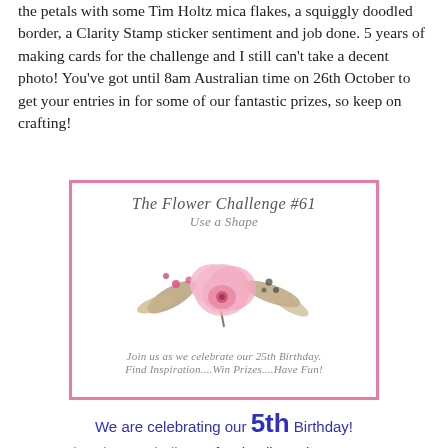the petals with some Tim Holtz mica flakes, a squiggly doodled border, a Clarity Stamp sticker sentiment and job done. 5 years of making cards for the challenge and I still can't take a decent photo! You've got until 8am Australian time on 26th October to get your entries in for some of our fantastic prizes, so keep on crafting!
[Figure (illustration): A decorative card image with pink border showing 'The Flower Challenge #61 Use a Shape' with a watercolor pink flower and botanical elements, text reading 'Join us as we celebrate our 25th Birthday. Find Inspiration....Win Prizes....Have Fun!']
We are celebrating our 5th Birthday!
See The Flower Challenge for details and our 11 PRIZES